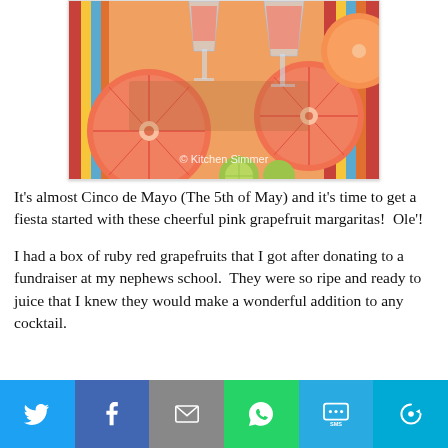[Figure (photo): Pink grapefruit margaritas in glasses on a colorful striped cloth with halved pink grapefruits and lime slices. Watermark reads '© Kitchen Simmer'.]
It's almost Cinco de Mayo (The 5th of May) and it's time to get a fiesta started with these cheerful pink grapefruit margaritas!  Ole'!
I had a box of ruby red grapefruits that I got after donating to a fundraiser at my nephews school.  They were so ripe and ready to juice that I knew they would make a wonderful addition to any cocktail.